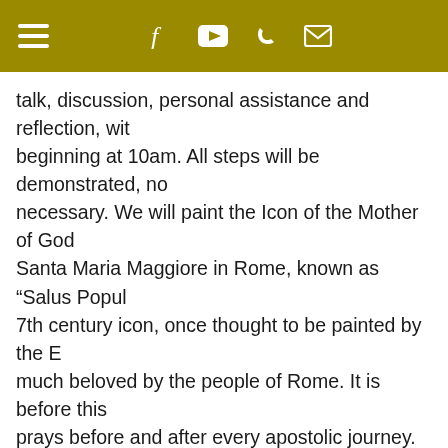Navigation header with hamburger menu, Facebook, YouTube, phone, and email icons
talk, discussion, personal assistance and reflection, wit beginning at 10am. All steps will be demonstrated, no necessary. We will paint the Icon of the Mother of God Santa Maria Maggiore in Rome, known as "Salus Popul 7th century icon, once thought to be painted by the E much beloved by the people of Rome. It is before this prays before and after every apostolic journey.
The cost is $200/ $100 children and students (includes painting materials, brushes, etc). There are scholarship discounts upon request. Beginners as well as advance The deadline for registration is June 16. For further info Fr. Elias at eliasdfw@gmail.com. [Liturgy Times button] ite a first come basis.